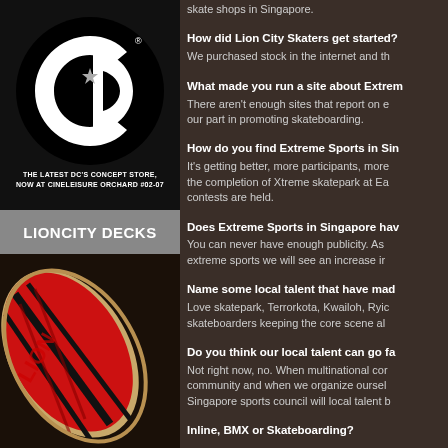[Figure (logo): DC Shoes logo in black and white with circular design and star]
THE LATEST DC'S CONCEPT STORE, NOW AT CINELEISURE ORCHARD #02-07
LIONCITY DECKS
[Figure (photo): Close-up photo of a skateboard deck with red and black design]
skate shops in Singapore.
How did Lion City Skaters get started? We purchased stock in the internet and th
What made you run a site about Extrem There aren't enough sites that report on e our part in promoting skateboarding.
How do you find Extreme Sports in Sin It's getting better, more participants, more the completion of Xtreme skatepark at Ea contests are held.
Does Extreme Sports in Singapore hav You can never have enough publicity. As extreme sports we will see an increase ir
Name some local talent that have mad Love skatepark, Terrorkota, Kwailoh, Ryic skateboarders keeping the core scene al
Do you think our local talent can go fa Not right now, no. When multinational cor community and when we organize oursel Singapore sports council will local talent b
Inline, BMX or Skateboarding?